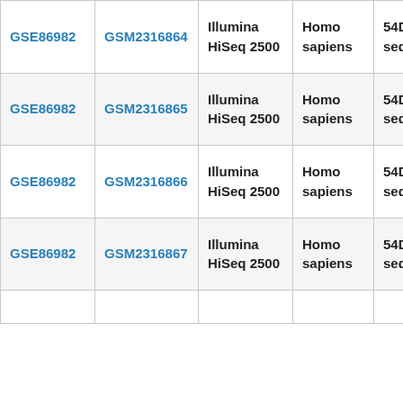| GSE86982 | GSM2316864 | Illumina HiSeq 2500 | Homo sapiens | 54Dn1_G06 seq |
| GSE86982 | GSM2316865 | Illumina HiSeq 2500 | Homo sapiens | 54Dn1_G07 seq |
| GSE86982 | GSM2316866 | Illumina HiSeq 2500 | Homo sapiens | 54Dn1_G08 seq |
| GSE86982 | GSM2316867 | Illumina HiSeq 2500 | Homo sapiens | 54Dn1_G09 seq |
|  |  |  |  |  |